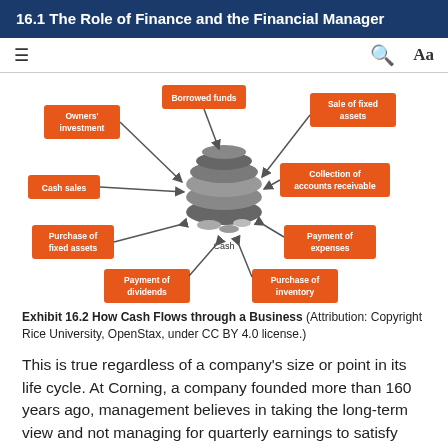16.1 The Role of Finance and the Financial Manager
[Figure (flowchart): Diagram showing how cash flows through a business. A central image of a cash pile is surrounded by labeled orange boxes connected by arrows: Owners' investment (inflow), Borrowed funds (inflow), Sale of fixed assets (inflow), Cash sales (inflow), Collection of accounts receivable (inflow), Purchase of fixed assets (outflow), Payment of expenses (outflow), Payment of dividends (outflow), Purchase of inventory (outflow).]
Exhibit 16.2 How Cash Flows through a Business (Attribution: Copyright Rice University, OpenStax, under CC BY 4.0 license.)
This is true regardless of a company's size or point in its life cycle. At Corning, a company founded more than 160 years ago, management believes in taking the long-term view and not managing for quarterly earnings to satisfy